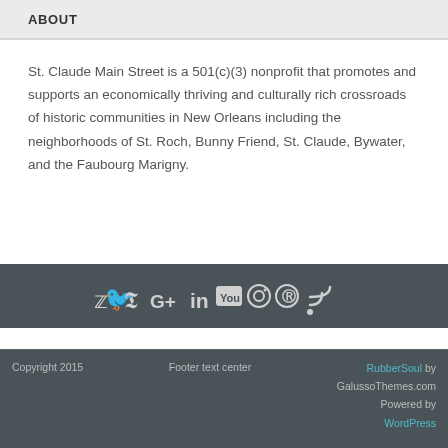ABOUT
St. Claude Main Street is a 501(c)(3) nonprofit that promotes and supports an economically thriving and culturally rich crossroads of historic communities in New Orleans including the neighborhoods of St. Roch, Bunny Friend, St. Claude, Bywater, and the Faubourg Marigny.
[Figure (other): Social media icons row: Twitter, Facebook, Google+, LinkedIn, YouTube, Instagram, Pinterest, RSS]
Copyright 2015   Footer text center   RubberSoul by GalussoThemes.com Powered by WordPress